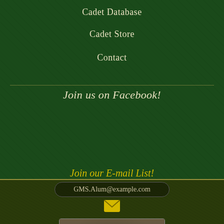Cadet Database
Cadet Store
Contact
Join us on Facebook!
[Figure (screenshot): Facebook widget showing a group photo of military alumni with Facebook logo and text 'Greenbrier Military School Alumni Association (GMSAA)']
Join our E-mail List!
GMS.Alum@example.com
Copyright © 2022 The Greenbrier Military School Alumni Association Greenbrier Spirit-Infused Web Development by Matt Winans